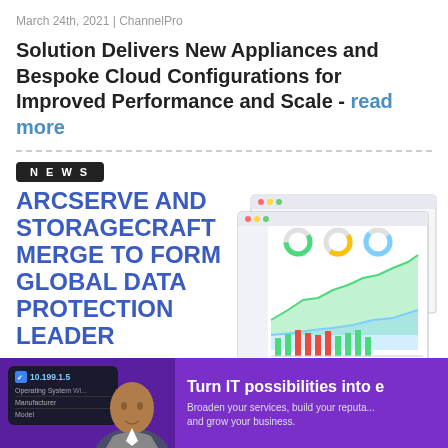March 24th, 2021 | ChannelPro
Solution Delivers New Appliances and Bespoke Cloud Configurations for Improved Performance and Scale - read more
NEWS
ARCSERVE AND STORAGECRAFT MERGE TO FORM GLOBAL DATA PROTECTION LEADER
[Figure (screenshot): Dashboard software screenshot showing area charts and bar charts in a data monitoring interface]
February 24th, 2021 | Rich Freeman
[Figure (infographic): Purple advertisement banner: Turn IT possibilities into e... Broaden your services, build your reputation and grow your business. Shows a person and an IT management card with IP 10.199.1.5]